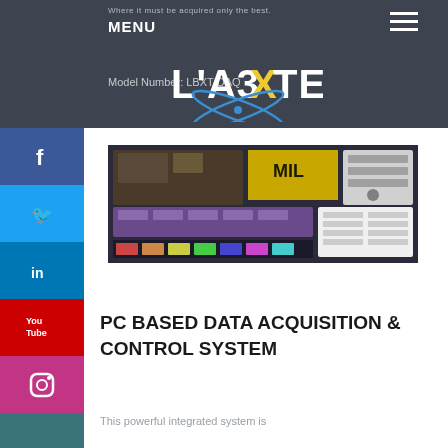MENU
[Figure (logo): LabXTech logo with stylized text and atomic orbit graphic]
Model Number: LBXT-DAQ
[Figure (screenshot): PC-based data acquisition and control system software interface screenshot showing control panels and monitoring displays]
PC BASED DATA ACQUISITION & CONTROL SYSTEM
This powerful integrated system is